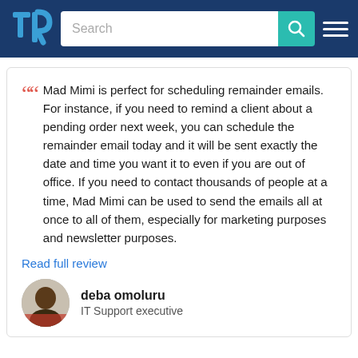TrustRadius — Search bar and navigation
Mad Mimi is perfect for scheduling remainder emails. For instance, if you need to remind a client about a pending order next week, you can schedule the remainder email today and it will be sent exactly the date and time you want it to even if you are out of office. If you need to contact thousands of people at a time, Mad Mimi can be used to send the emails all at once to all of them, especially for marketing purposes and newsletter purposes.
Read full review
deba omoluru
IT Support executive